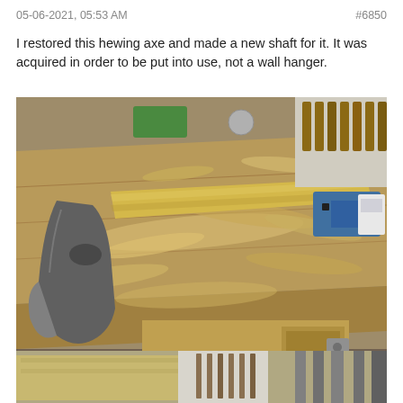05-06-2021, 05:53 AM    #6850
I restored this hewing axe and made a new shaft for it. It was acquired in order to be put into use, not a wall hanger.
[Figure (photo): Top-down view of a workshop bench with a hewing axe (dark grey head, yellow-tan wooden handle) lying on a wooden plank surrounded by wood shavings. Various tools and equipment visible in background.]
[Figure (photo): Partial view of another workshop photo, showing wooden boards, clamps, and tools.]